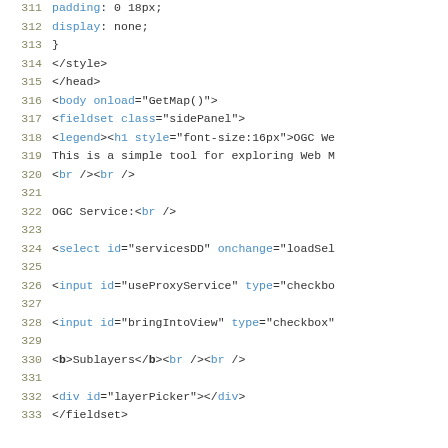311-333 code block showing HTML source with line numbers